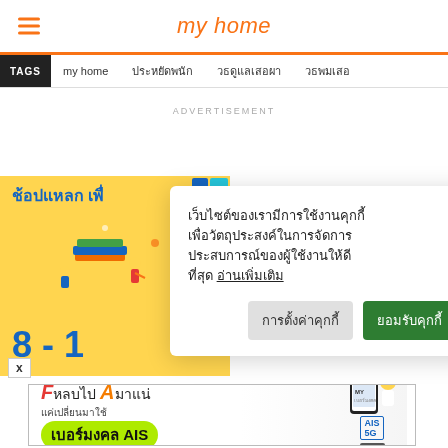my home
TAGS  my home  ประหยัดพนัก  วธดูแลเสอผา  วธพมเสอ
ADVERTISEMENT
[Figure (illustration): Yellow advertisement banner with Thai text 'ช้อปแหลก เพื่' and '8-1' at bottom, with educational illustration of books and students]
เว็บไซต์ของเรามีการใช้งานคุกกี้เพื่อวัตถุประสงค์ในการจัดการประสบการณ์ของผู้ใช้งานให้ดีที่สุด อ่านเพิ่มเติม
การตั้งค่าคุกกี้  ยอมรับคุกกี้
[Figure (illustration): AIS 5G advertisement banner with Thai text 'F หลบไป A มาแน่ แค่เปลี่ยนมาใช้ เบอร์มงคล AIS' and student holding phone]